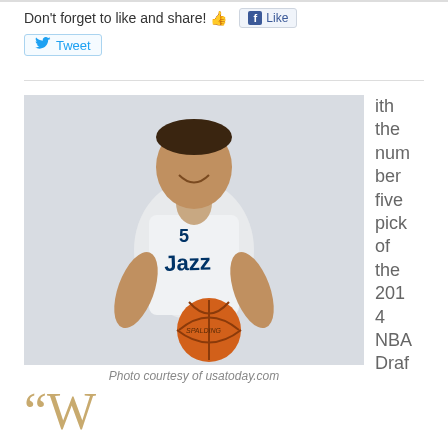Don't forget to like and share! 👍
[Figure (photo): Young NBA player in Utah Jazz white jersey holding a Spalding basketball, smiling at camera. Photo courtesy of usatoday.com]
Photo courtesy of usatoday.com
ith the number five pick of the 2014 NBA Draf
"W